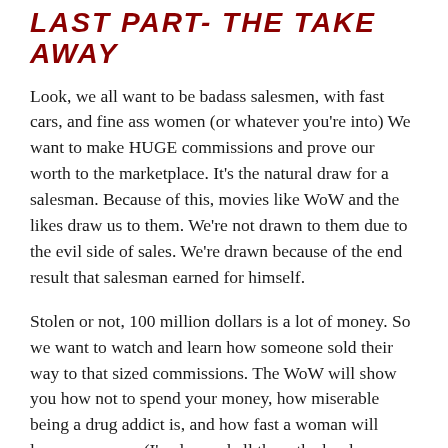LAST PART- THE TAKE AWAY
Look, we all want to be badass salesmen, with fast cars, and fine ass women (or whatever you're into) We want to make HUGE commissions and prove our worth to the marketplace. It's the natural draw for a salesman. Because of this, movies like WoW and the likes draw us to them. We're not drawn to them due to the evil side of sales. We're drawn because of the end result that salesman earned for himself.
Stolen or not, 100 million dollars is a lot of money. So we want to watch and learn how someone sold their way to that sized commissions. The WoW will show you how not to spend your money, how miserable being a drug addict is, and how fast a woman will leaver your ass. (I've learned all three the hard way too) It will also show you how to get on a microphone and motivate the shit out of a sales force. It will